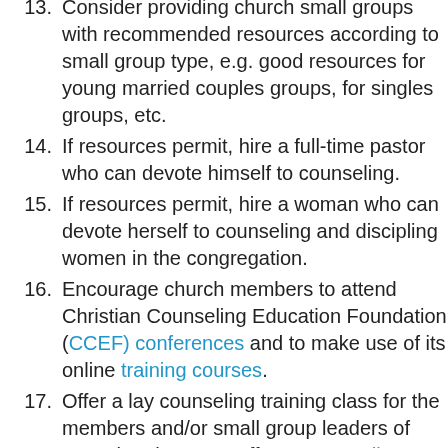13. Consider providing church small groups with recommended resources according to small group type, e.g. good resources for young married couples groups, for singles groups, etc.
14. If resources permit, hire a full-time pastor who can devote himself to counseling.
15. If resources permit, hire a woman who can devote herself to counseling and discipling women in the congregation.
16. Encourage church members to attend Christian Counseling Education Foundation (CCEF) conferences and to make use of its online training courses.
17. Offer a lay counseling training class for the members and/or small group leaders of your church. CCEF offers two excellent curriculums